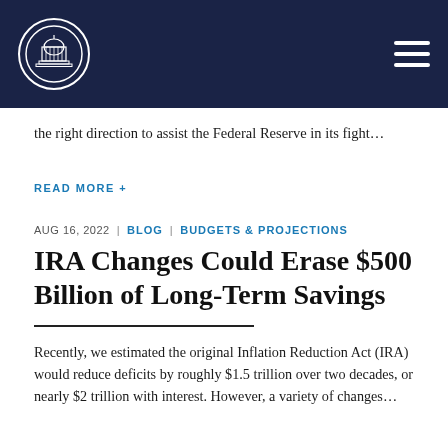the right direction to assist the Federal Reserve in its fight…
READ MORE +
AUG 16, 2022 | BLOG | BUDGETS & PROJECTIONS
IRA Changes Could Erase $500 Billion of Long-Term Savings
Recently, we estimated the original Inflation Reduction Act (IRA) would reduce deficits by roughly $1.5 trillion over two decades, or nearly $2 trillion with interest. However, a variety of changes…